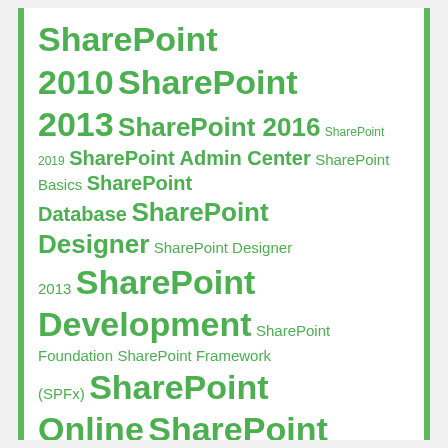[Figure (infographic): Tag cloud of SharePoint-related terms in various font sizes, all displayed in green on white background. Terms include SharePoint 2010, SharePoint 2013, SharePoint 2016, SharePoint 2019, SharePoint Admin Center, SharePoint Basics, SharePoint Database, SharePoint Designer, SharePoint Designer 2013, SharePoint Development, SharePoint Foundation, SharePoint Framework (SPFx), SharePoint Online, SharePoint Online Management Shell, SharePoint Products Configuration Wizard, SharePoint Server, Shortcuts, Site Collection, Site Collection Administrator, Site Columns, Site.]